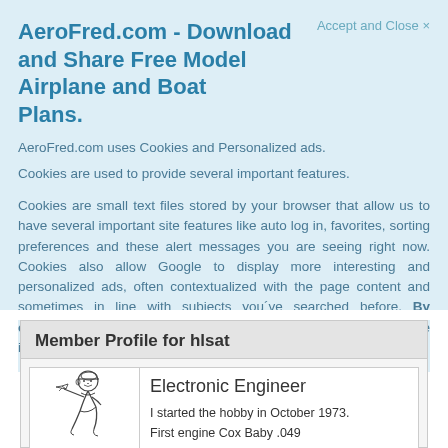AeroFred.com - Download and Share Free Model Airplane and Boat Plans.
Accept and Close ×
AeroFred.com uses Cookies and Personalized ads.
Cookies are used to provide several important features.
Cookies are small text files stored by your browser that allow us to have several important site features like auto log in, favorites, sorting preferences and these alert messages you are seeing right now. Cookies also allow Google to display more interesting and personalized ads, often contextualized with the page content and sometimes in line with subjects you´ve searched before. By continuing to use the site you agree to our use of cookies. More information about cookies can be found on our Privacy Policy
Member Profile for hlsat
[Figure (illustration): Line drawing illustration of a cartoon boy running or marching, holding a model airplane.]
Electronic Engineer
I started the hobby in October 1973.
First engine Cox Baby .049
First Radio Control Futaba 27Mhz 3 channels.